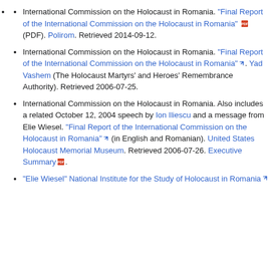International Commission on the Holocaust in Romania. "Final Report of the International Commission on the Holocaust in Romania" (PDF). Polirom. Retrieved 2014-09-12.
International Commission on the Holocaust in Romania. "Final Report of the International Commission on the Holocaust in Romania". Yad Vashem (The Holocaust Martyrs' and Heroes' Remembrance Authority). Retrieved 2006-07-25.
International Commission on the Holocaust in Romania. Also includes a related October 12, 2004 speech by Ion Iliescu and a message from Elie Wiesel. "Final Report of the International Commission on the Holocaust in Romania" (in English and Romanian). United States Holocaust Memorial Museum. Retrieved 2006-07-26. Executive Summary.
"Elie Wiesel" National Institute for the Study of Holocaust in Romania